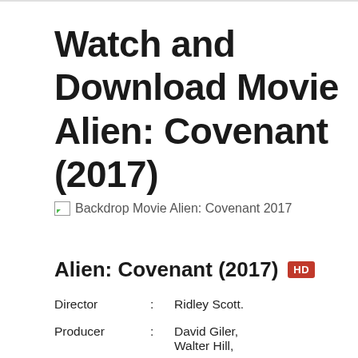Watch and Download Movie Alien: Covenant (2017)
[Figure (other): Broken image placeholder with alt text: Backdrop Movie Alien: Covenant 2017]
Alien: Covenant (2017) HD
| Director | : | Ridley Scott. |
| Producer | : | David Giler, Walter Hill, |